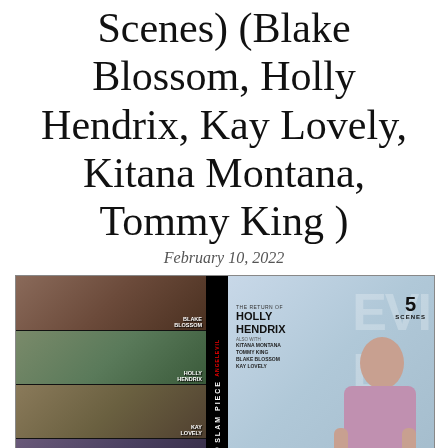Scenes) (Blake Blossom, Holly Hendrix, Kay Lovely, Kitana Montana, Tommy King )
February 10, 2022
[Figure (photo): DVD cover for 'Slam Piece' by Evil Angel / Jonni Darkko, showing scene thumbnails on the left panel with performer names Blake Blossom, Holly Hendrix, Kay Lovely, Kitana Montana, Tommy King, a spine with the title, and a front cover featuring Holly Hendrix with the title 'Slam Piece', '5 Scenes', and director Jonni Darkko]